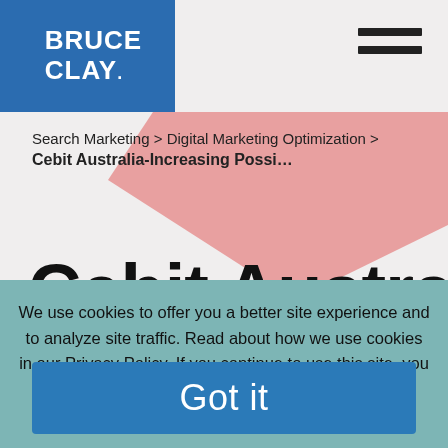Bruce Clay
Search Marketing > Digital Marketing Optimization >
Cebit Australia-Increasing Possi...
Cebit Australia
We use cookies to offer you a better site experience and to analyze site traffic. Read about how we use cookies in our Privacy Policy. If you continue to use this site, you consent to our use of cookies.
Got it